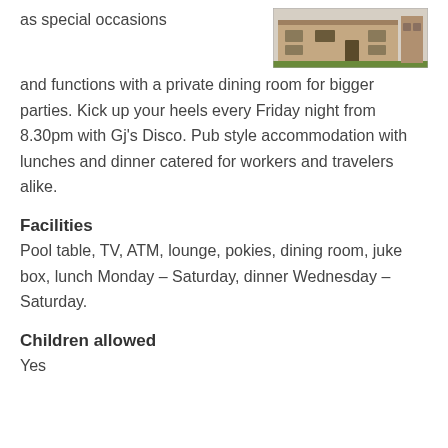as special occasions
[Figure (photo): Exterior photo of a pub/hotel building]
and functions with a private dining room for bigger parties. Kick up your heels every Friday night from 8.30pm with Gj's Disco. Pub style accommodation with lunches and dinner catered for workers and travelers alike.
Facilities
Pool table, TV, ATM, lounge, pokies, dining room, juke box, lunch Monday – Saturday, dinner Wednesday – Saturday.
Children allowed
Yes